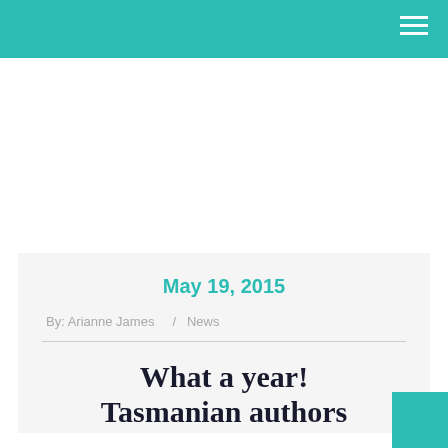May 19, 2015
By: Arianne James  /  News
What a year! Tasmanian authors